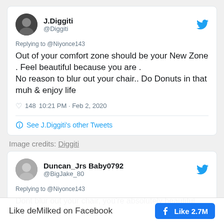[Figure (screenshot): Tweet from J.Diggiti (@Diggiti) replying to @Niyonce143: 'Out of your comfort zone should be your New Zone . Feel beautiful because you are . No reason to blur out your chair.. Do Donuts in that muh & enjoy life' with 148 likes, 10:21 PM - Feb 2, 2020, and a link to see J.Diggiti's other Tweets]
Image credits: Diggiti
[Figure (screenshot): Tweet from Duncan_Jrs Baby0792 (@BigJake_80) replying to @Niyonce143: 'Dont blur out your chair, you're absolutely beautiful...']
Like deMilked on Facebook  Like 2.7M